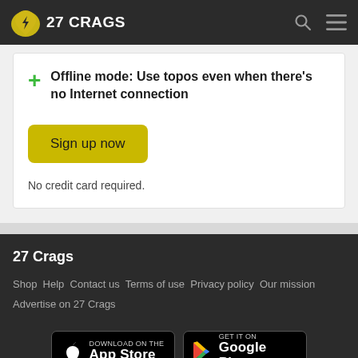27 CRAGS
Offline mode: Use topos even when there's no Internet connection
Sign up now
No credit card required.
27 Crags
Shop  Help  Contact us  Terms of use  Privacy policy  Our mission  Advertise on 27 Crags
[Figure (logo): Download on the App Store badge]
[Figure (logo): GET IT ON Google Play badge]